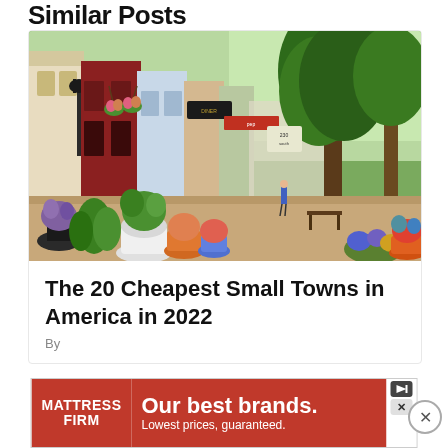Similar Posts
[Figure (photo): Charming small town main street lined with colorful storefronts, hanging flower baskets, potted plants, and street lamps. Leafy green trees line the sidewalk and a pedestrian is visible in the distance.]
The 20 Cheapest Small Towns in America in 2022
By
[Figure (other): Advertisement banner for Mattress Firm: red background with white text reading 'Our best brands. Lowest prices, guaranteed.' with Mattress Firm logo on left.]